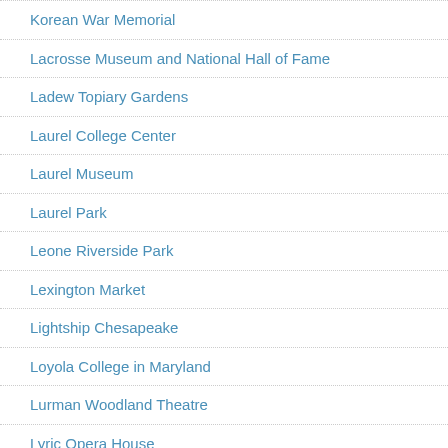Korean War Memorial
Lacrosse Museum and National Hall of Fame
Ladew Topiary Gardens
Laurel College Center
Laurel Museum
Laurel Park
Leone Riverside Park
Lexington Market
Lightship Chesapeake
Loyola College in Maryland
Lurman Woodland Theatre
Lyric Opera House